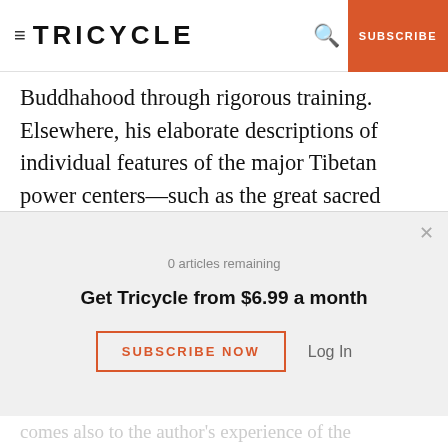≡ TRICYCLE | SUBSCRIBE
Buddhahood through rigorous training. Elsewhere, his elaborate descriptions of individual features of the major Tibetan power centers—such as the great sacred mountains Kang Rimpoche, Tsari, and Amnye Machen, as well as the caves of Padmasambhava and Milarepa—together with his summaries of the mythic tales that empower them, all help to make The Sacred Life of Tibet a remarkable pilgrim's guide to Tibet and an accessible
0 articles remaining
Get Tricycle from $6.99 a month
SUBSCRIBE NOW
Log In
comes also to the author's experience of the